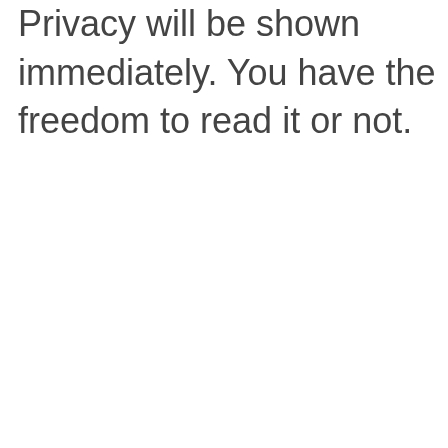Privacy will be shown immediately. You have the freedom to read it or not.